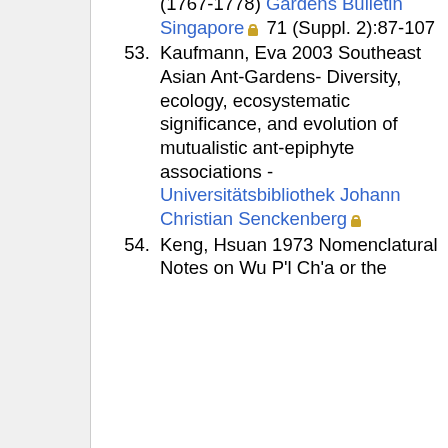(1767-1778) Gardens Bulletin Singapore [lock] 71 (Suppl. 2):87-107
53. Kaufmann, Eva 2003 Southeast Asian Ant-Gardens- Diversity, ecology, ecosystematic significance, and evolution of mutualistic ant-epiphyte associations - Universitätsbibliothek Johann Christian Senckenberg [lock]
54. Keng, Hsuan 1973 Nomenclatural Notes on Wu P'l Ch'a or the